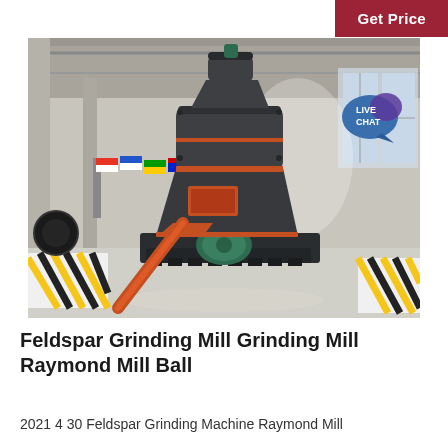Get Price
[Figure (photo): Large industrial Raymond grinding mill machine displayed inside a factory warehouse. The machine is dark grey/black with orange-red trim rings, a cylindrical upper body, funnel-shaped base with green motor visible underneath, and a diagonal red conveyor/chute on the left. The factory background shows colorful international flags, structural columns, large windows, and yellow-black safety striping on the floor.]
Feldspar Grinding Mill Grinding Mill Raymond Mill Ball
2021 4 30 Feldspar Grinding Machine Raymond Mill